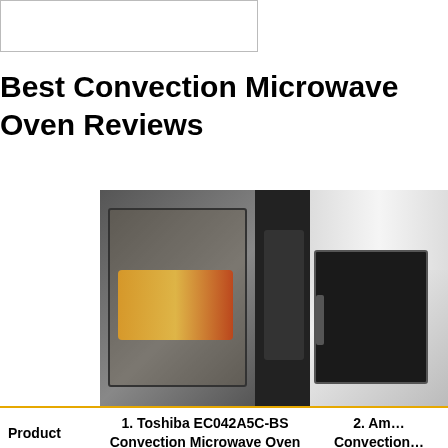[Figure (photo): Partial placeholder image box at top left]
Best Convection Microwave Oven Reviews
| Product | 1. Toshiba EC042A5C-BS Convection Microwave Oven | 2. Am... Convection... |
| --- | --- | --- |
| Category | Best Seller | Sma... |
| Capacity | 1.5 cu. ft. | 1... |